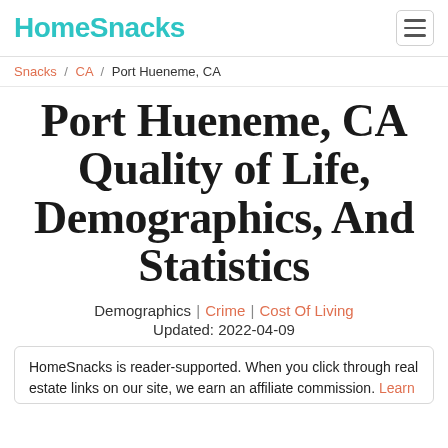HomeSnacks
Snacks / CA / Port Hueneme, CA
Port Hueneme, CA Quality of Life, Demographics, And Statistics
Demographics | Crime | Cost Of Living
Updated: 2022-04-09
HomeSnacks is reader-supported. When you click through real estate links on our site, we earn an affiliate commission. Learn